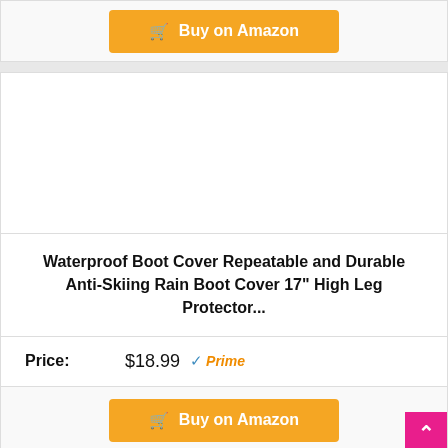[Figure (other): Orange 'Buy on Amazon' button with shopping cart icon at top of page]
[Figure (photo): Product image area (white/blank product photo space)]
Waterproof Boot Cover Repeatable and Durable Anti-Skiing Rain Boot Cover 17" High Leg Protector...
Price: $18.99 Prime
[Figure (other): Orange 'Buy on Amazon' button with shopping cart icon at bottom of page]